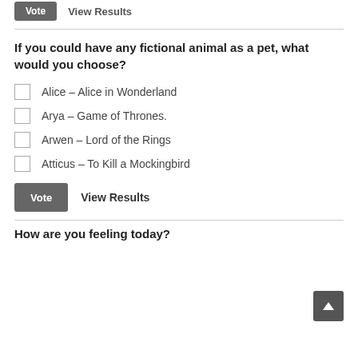[Figure (screenshot): Vote button and View Results link at top of page]
If you could have any fictional animal as a pet, what would you choose?
Alice – Alice in Wonderland
Arya – Game of Thrones.
Arwen – Lord of the Rings
Atticus – To Kill a Mockingbird
[Figure (screenshot): Vote button and View Results link at bottom of poll]
How are you feeling today?